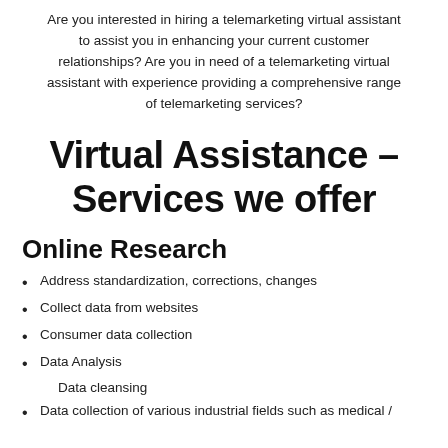Are you interested in hiring a telemarketing virtual assistant to assist you in enhancing your current customer relationships? Are you in need of a telemarketing virtual assistant with experience providing a comprehensive range of telemarketing services?
Virtual Assistance – Services we offer
Online Research
Address standardization, corrections, changes
Collect data from websites
Consumer data collection
Data Analysis
Data cleansing
Data collection of various industrial fields such as medical /